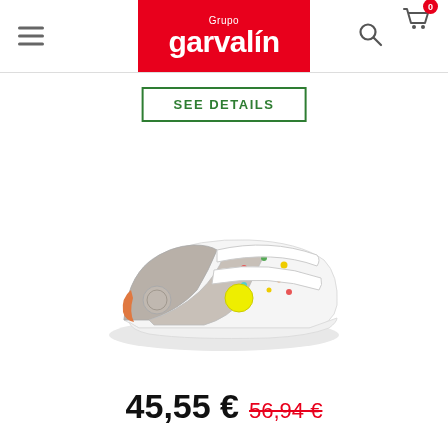Grupo garvalín
SEE DETAILS
[Figure (photo): Children's sneaker with velcro straps, white upper with colorful floral/geometric pattern, grey suede toe cap and side panel, orange heel tab, white sole]
45,55 € 56,94 €